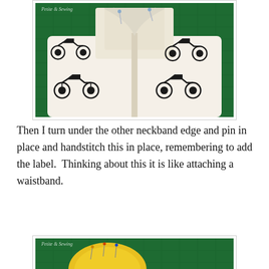[Figure (photo): A white fabric with black motorcycle print pattern showing the neckband area folded and pinned with sewing pins, on a green cutting mat background. Watermark reads 'Petite & Sewing'.]
Then I turn under the other neckband edge and pin in place and handstitch this in place, remembering to add the label.  Thinking about this it is like attaching a waistband.
[Figure (photo): Partial view of a yellow circular object (possibly a pin cushion or button) on a green cutting mat background. Watermark reads 'Petite & Sewing'.]